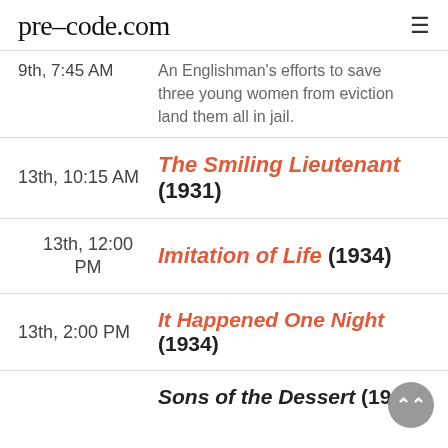pre-code.com
An Englishman's efforts to save three young women from eviction land them all in jail.
13th, 10:15 AM — The Smiling Lieutenant (1931)
13th, 12:00 PM — Imitation of Life (1934)
13th, 2:00 PM — It Happened One Night (1934)
Sons of the Dessert (1933)